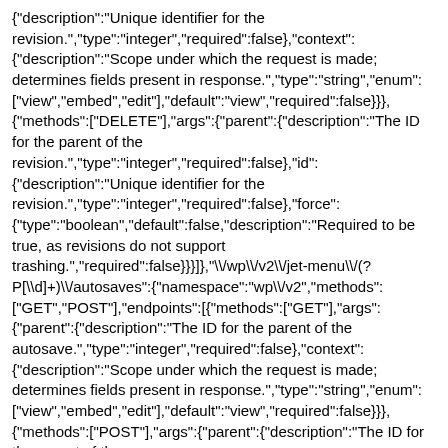{"description":"Unique identifier for the revision.","type":"integer","required":false},{"context":{"description":"Scope under which the request is made; determines fields present in response.","type":"string","enum":["view","embed","edit"],"default":"view","required":false}}},{"methods":["DELETE"],"args":{"parent":{"description":"The ID for the parent of the revision.","type":"integer","required":false},"id":{"description":"Unique identifier for the revision.","type":"integer","required":false},"force":{"type":"boolean","default":false,"description":"Required to be true, as revisions do not support trashing.","required":false}}}]},"\/wp\/v2\/jet-menu\/(? P[\\d]+)\/autosaves":{"namespace":"wp\/v2","methods":["GET","POST"],"endpoints":[{"methods":["GET"],"args":{"parent":{"description":"The ID for the parent of the autosave.","type":"integer","required":false},"context":{"description":"Scope under which the request is made; determines fields present in response.","type":"string","enum":["view","embed","edit"],"default":"view","required":false}}},{"methods":["POST"],"args":{"parent":{"description":"The ID for the parent of the autosave.","type":"integer","required":false},"date":{"description":"The date the post was published, in the site's timezone.","type":["string","null"],"format":"date-